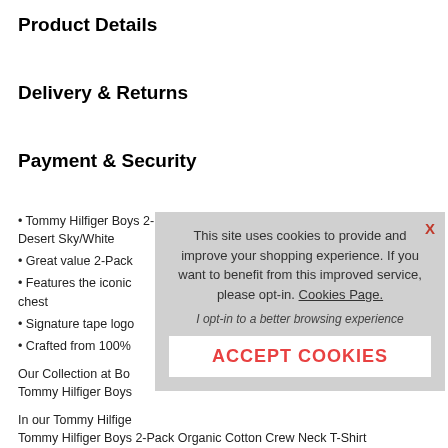Product Details
Delivery & Returns
Payment & Security
• Tommy Hilfiger Boys 2-Pack Organic Cotton Crew Neck T-Shirt, Desert Sky/White
• Great value 2-Pack
• Features the iconic logo on the chest
• Signature tape logo
• Crafted from 100%
Our Collection at Bo Tommy Hilfiger Boys
In our Tommy Hilfige Tommy Hilfiger Boys 2-Pack Organic Cotton Crew Neck T-Shirt
This site uses cookies to provide and improve your shopping experience. If you want to benefit from this improved service, please opt-in. Cookies Page.
I opt-in to a better browsing experience
ACCEPT COOKIES